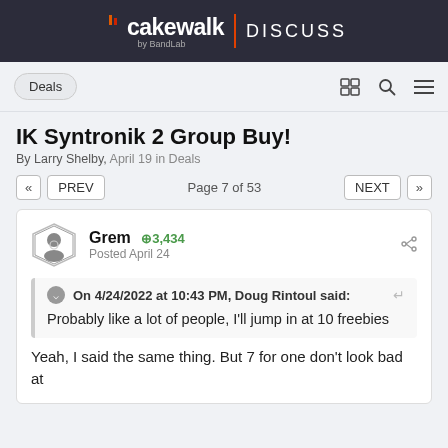cakewalk by BandLab | DISCUSS
IK Syntronik 2 Group Buy!
By Larry Shelby, April 19 in Deals
« PREV   Page 7 of 53   NEXT »
Grem  +3,434
Posted April 24
On 4/24/2022 at 10:43 PM, Doug Rintoul said:
Probably like a lot of people, I'll jump in at 10 freebies
Yeah, I said the same thing. But 7 for one don't look bad at